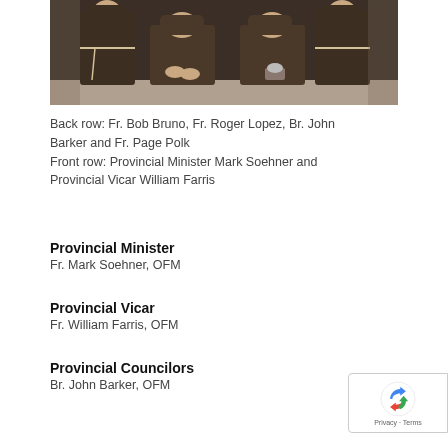[Figure (photo): Group photo of Franciscan friars in brown habits, seated and standing outdoors against a stone wall background.]
Back row: Fr. Bob Bruno, Fr. Roger Lopez, Br. John Barker and Fr. Page Polk
Front row: Provincial Minister Mark Soehner and Provincial Vicar William Farris
Provincial Minister
Fr. Mark Soehner, OFM
Provincial Vicar
Fr. William Farris, OFM
Provincial Councilors
Br. John Barker, OFM